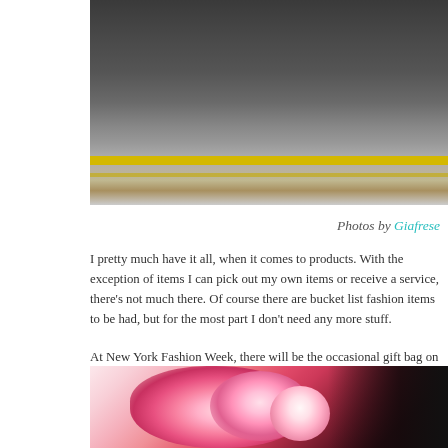[Figure (photo): Top portion of a street photo showing asphalt/pavement with a yellow road line, cropped at top of page]
Photos by Giafrese
I pretty much have it all, when it comes to products. With the exception of items I can pick out my own items or receive a service, there's not much there. Of course there are bucket list fashion items to be had, but for the most part I don't need any more stuff.
At New York Fashion Week, there will be the occasional gift bag on you, or brands give out at a press lounge or suite, which I appreciate and am grateful for, but give away 85% of it to friends and family. Flowers, however, are a special gift. They are appreciated for their beauty, delicate and fleeting nature, and overall are an instant happiness producer. And oh the colors!
[Figure (photo): Bottom portion showing pink flowers (roses/tulips) being held, with dark background on the right]